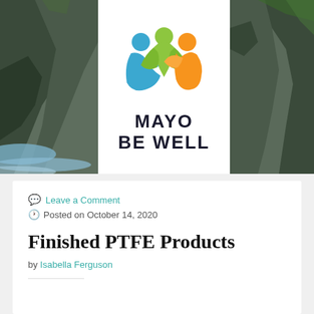[Figure (photo): Rocky coastal scene with ocean waves crashing against large dark rock formations. A white rectangular overlay in the center contains the Mayo Be Well logo.]
[Figure (logo): Mayo Be Well logo: three abstract human figures in blue, green, and orange-yellow forming a circle, above bold text reading MAYO BE WELL.]
Leave a Comment
Posted on October 14, 2020
Finished PTFE Products
by Isabella Ferguson